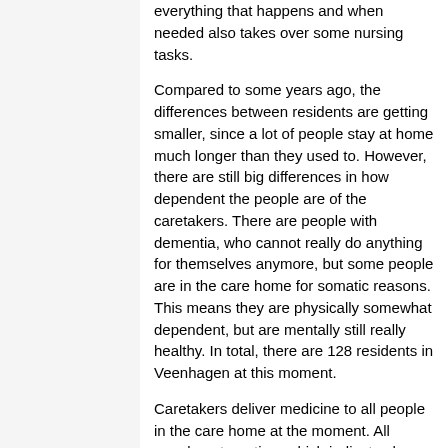everything that happens and when needed also takes over some nursing tasks.
Compared to some years ago, the differences between residents are getting smaller, since a lot of people stay at home much longer than they used to. However, there are still big differences in how dependent the people are of the caretakers. There are people with dementia, who cannot really do anything for themselves anymore, but some people are in the care home for somatic reasons. This means they are physically somewhat dependent, but are mentally still really healthy. In total, there are 128 residents in Veenhagen at this moment.
Caretakers deliver medicine to all people in the care home at the moment. All people get a rating, which indicates how much control should be there regarding the medicine intake. A 1 means they get to manage their own pill boxes and are responsible for taking them in on time and a 4 means the caretaker should bring in the pills at the exact right time and has